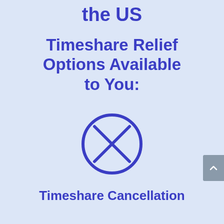the US
Timeshare Relief Options Available to You:
[Figure (illustration): Circle with an X inside, representing cancellation or prohibition icon, drawn in blue outline on light blue background]
Timeshare Cancellation